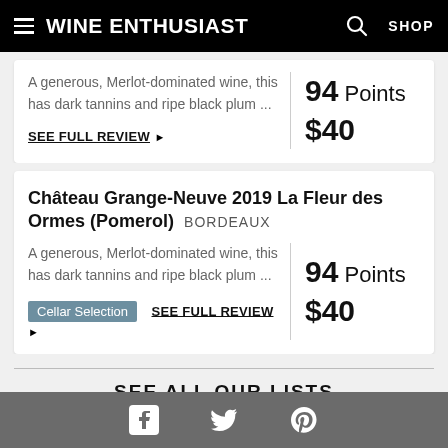Wine Enthusiast  SHOP
A generous, Merlot-dominated wine, this has dark tannins and ripe black plum ...  94 Points  $40  SEE FULL REVIEW
Château Grange-Neuve 2019 La Fleur des Ormes (Pomerol)  BORDEAUX
A generous, Merlot-dominated wine, this has dark tannins and ripe black plum ...  94 Points  $40
Cellar Selection  SEE FULL REVIEW
SEE ALL OUR LISTS
Facebook  Twitter  Pinterest